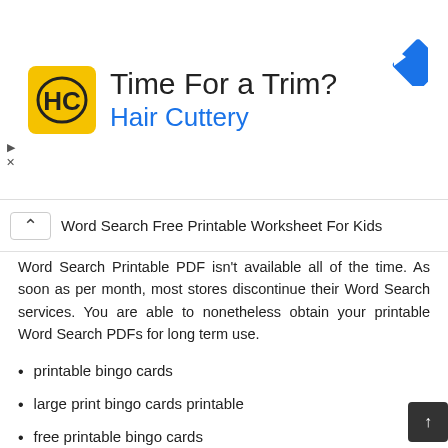[Figure (logo): Hair Cuttery advertisement banner with HC logo in yellow square, text 'Time For a Trim?' and 'Hair Cuttery' in blue, and a blue diamond-shaped direction arrow icon on the right]
Word Search Free Printable Worksheet For Kids
Word Search Printable PDF isn't available all of the time. As soon as per month, most stores discontinue their Word Search services. You are able to nonetheless obtain your printable Word Search PDFs for long term use.
printable bingo cards
large print bingo cards printable
free printable bingo cards
printable bingo cards 1-90
bingo cards printable free
mental health bingo